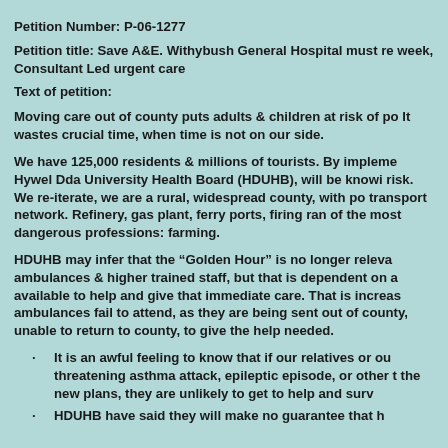Petition Number: P-06-1277
Petition title: Save A&E. Withybush General Hospital must re week, Consultant Led urgent care
Text of petition:
Moving care out of county puts adults & children at risk of po It wastes crucial time, when time is not on our side.
We have 125,000 residents & millions of tourists. By impleme Hywel Dda University Health Board (HDUHB), will be knowi risk. We re-iterate, we are a rural, widespread county, with po transport network. Refinery, gas plant, ferry ports, firing ran of the most dangerous professions: farming.
HDUHB may infer that the “Golden Hour” is no longer releva ambulances & higher trained staff, but that is dependent on a available to help and give that immediate care. That is increas ambulances fail to attend, as they are being sent out of county unable to return to county, to give the help needed.
It is an awful feeling to know that if our relatives or ou threatening asthma attack, epileptic episode, or other t the new plans, they are unlikely to get to help and surv
HDUHB have said they will make no guarantee that h